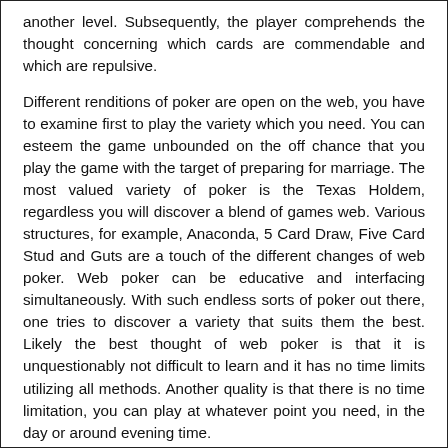another level. Subsequently, the player comprehends the thought concerning which cards are commendable and which are repulsive.
Different renditions of poker are open on the web, you have to examine first to play the variety which you need. You can esteem the game unbounded on the off chance that you play the game with the target of preparing for marriage. The most valued variety of poker is the Texas Holdem, regardless you will discover a blend of games web. Various structures, for example, Anaconda, 5 Card Draw, Five Card Stud and Guts are a touch of the different changes of web poker. Web poker can be educative and interfacing simultaneously. With such endless sorts of poker out there, one tries to discover a variety that suits them the best. Likely the best thought of web poker is that it is unquestionably not difficult to learn and it has no time limits utilizing all methods. Another quality is that there is no time limitation, you can play at whatever point you need, in the day or around evening time.